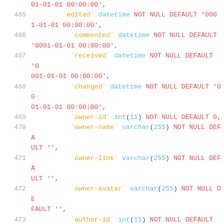SQL code snippet showing database table column definitions, lines 465-476, including fields: edited, commented, received, changed, owner-id, owner-name, owner-link, owner-avatar, author-id, author-name, author-link, author-avatar with their types and constraints.